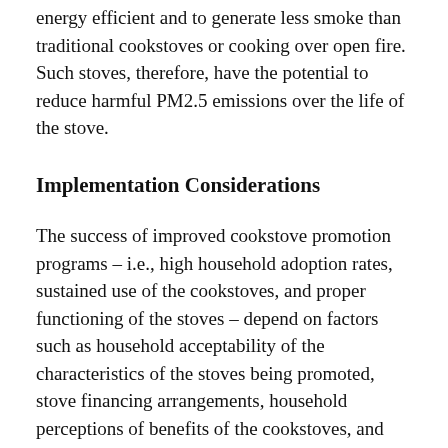energy efficient and to generate less smoke than traditional cookstoves or cooking over open fire.  Such stoves, therefore, have the potential to reduce harmful PM2.5 emissions over the life of the stove.
Implementation Considerations
The success of improved cookstove promotion programs – i.e., high household adoption rates, sustained use of the cookstoves, and proper functioning of the stoves – depend on factors such as household acceptability of the characteristics of the stoves being promoted, stove financing arrangements, household perceptions of benefits of the cookstoves, and program follow-up in terms of monitoring and promotion of sustained use of the stoves as well as proper stove maintenance and repair.